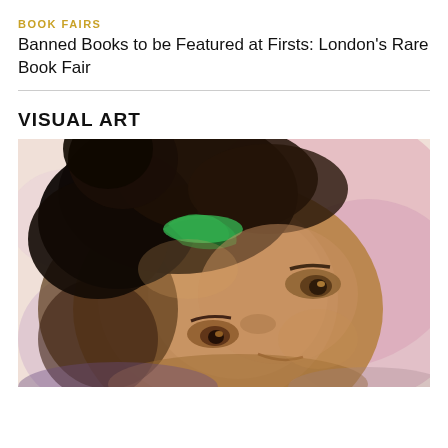BOOK FAIRS
Banned Books to be Featured at Firsts: London's Rare Book Fair
VISUAL ART
[Figure (illustration): Watercolor portrait painting of a young person viewed from slightly above, with dark hair styled up with a green hair accessory/collar, warm brown skin tones, looking upward with expressive eyes, set against a pink and lavender background.]